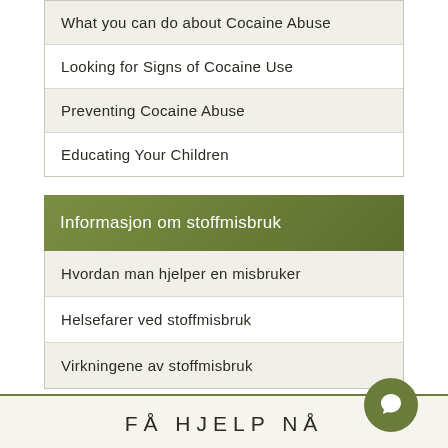What you can do about Cocaine Abuse
Looking for Signs of Cocaine Use
Preventing Cocaine Abuse
Educating Your Children
Informasjon om stoffmisbruk
Hvordan man hjelper en misbruker
Helsefarer ved stoffmisbruk
Virkningene av stoffmisbruk
≡ Indeks
FÅ HJELP NÅ